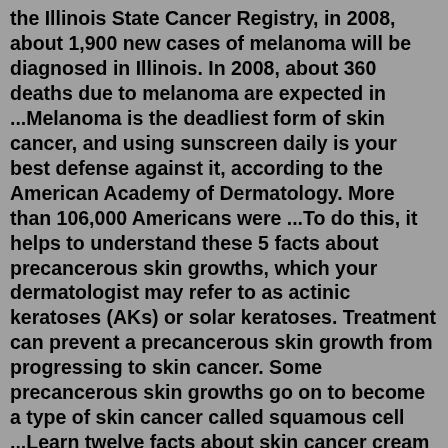the Illinois State Cancer Registry, in 2008, about 1,900 new cases of melanoma will be diagnosed in Illinois. In 2008, about 360 deaths due to melanoma are expected in ...Melanoma is the deadliest form of skin cancer, and using sunscreen daily is your best defense against it, according to the American Academy of Dermatology. More than 106,000 Americans were ...To do this, it helps to understand these 5 facts about precancerous skin growths, which your dermatologist may refer to as actinic keratoses (AKs) or solar keratoses. Treatment can prevent a precancerous skin growth from progressing to skin cancer. Some precancerous skin growths go on to become a type of skin cancer called squamous cell ...Learn twelve facts about skin cancer cream from board-certified dermatologist Ahmet Altiner in this Howcast video. Transcript There are many types of medicated creams approved by the FDA for the treatment of early skin cancer, such as superficial BCCs, and squamous cell carcinoma in situ.A skin